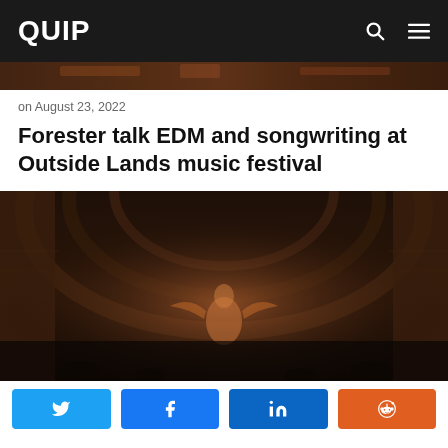QUIP
[Figure (photo): Partial view of a concert/festival scene with warm dark brown and amber tones, showing architectural arches and a performer in the background.]
on August 23, 2022
Forester talk EDM and songwriting at Outside Lands music festival
[Figure (photo): Dark atmospheric photo of a concert venue with brick arches and ambient warm lighting, showing a performer or figure from behind with dramatic lighting.]
Share buttons: Twitter, Facebook, LinkedIn, Reddit